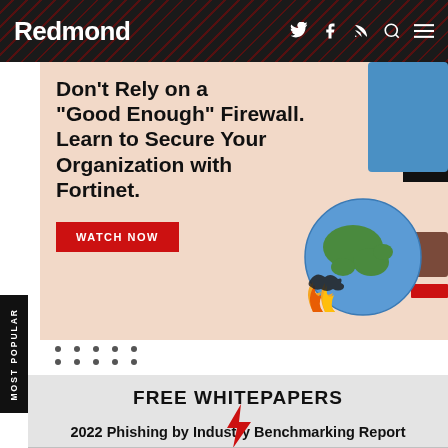Redmond
[Figure (illustration): Advertisement banner for Fortinet firewall webinar with headline text and illustration of globe on fire]
Don't Rely on a "Good Enough" Firewall. Learn to Secure Your Organization with Fortinet. WATCH NOW
MOST POPULAR
FREE WHITEPAPERS
2022 Phishing by Industry Benchmarking Report